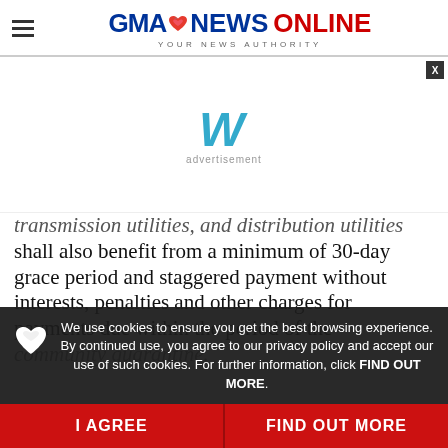GMA NEWS ONLINE — YOUR NEWS AUTHORITY
[Figure (logo): Weathertech/advertisement logo icon (stylized W in teal)]
advertisement
transmission utilities, and distribution utilities shall also benefit from a minimum of 30-day grace period and staggered payment without interests, penalties and other charges for payments due within the period of the community quarantine.
We use cookies to ensure you get the best browsing experience. By continued use, you agree to our privacy policy and accept our use of such cookies. For further information, click FIND OUT MORE.
NEXT STORY — Govt purchasing oxygen
I AGREE
FIND OUT MORE